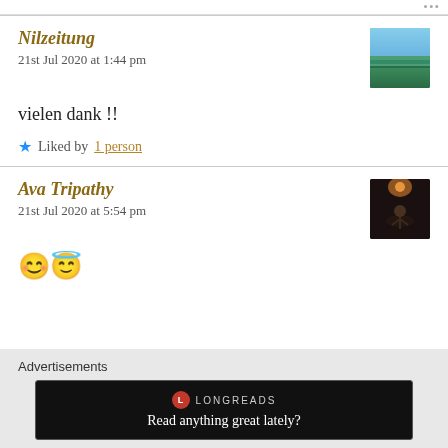Nilzeitung
21st Jul 2020 at 1:44 pm
vielen dank !!
Liked by 1 person
Ava Tripathy
21st Jul 2020 at 5:54 pm
😊😇
Advertisements
LONGREADS
Read anything great lately?